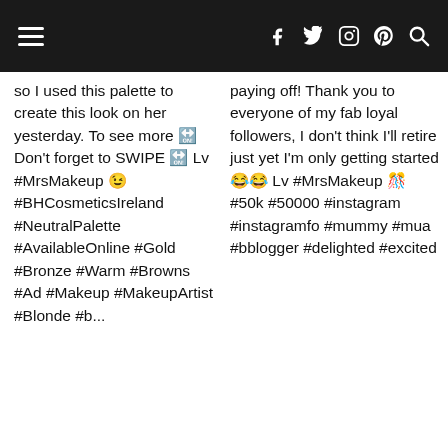Navigation bar with hamburger menu and social icons (f, twitter, instagram, pinterest, search)
so I used this palette to create this look on her yesterday. To see more 🔛 Don't forget to SWIPE 🔛 Lv #MrsMakeup 😉 #BHCosmeticsIreland #NeutralPalette #AvailableOnline #Gold #Bronze #Warm #Browns #Ad #Makeup #MakeupArtist #Blonde #b...
paying off! Thank you to everyone of my fab loyal followers, I don't think I'll retire just yet I'm only getting started 😂😂 Lv #MrsMakeup 🎊 #50k #50000 #instagram #instagramfo #mummy #mua #bblogger #delighted #excited